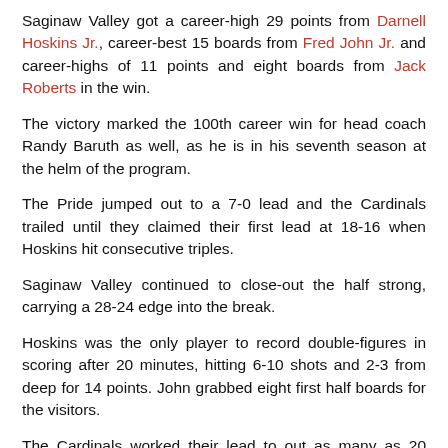Saginaw Valley got a career-high 29 points from Darnell Hoskins Jr., career-best 15 boards from Fred John Jr. and career-highs of 11 points and eight boards from Jack Roberts in the win.
The victory marked the 100th career win for head coach Randy Baruth as well, as he is in his seventh season at the helm of the program.
The Pride jumped out to a 7-0 lead and the Cardinals trailed until they claimed their first lead at 18-16 when Hoskins hit consecutive triples.
Saginaw Valley continued to close-out the half strong, carrying a 28-24 edge into the break.
Hoskins was the only player to record double-figures in scoring after 20 minutes, hitting 6-10 shots and 2-3 from deep for 14 points. John grabbed eight first half boards for the visitors.
The Cardinals worked their lead to out as many as 20 points at 59-39 when James Toohey nailed his second three-pointer in a row with 7:28 remaining on the clock.